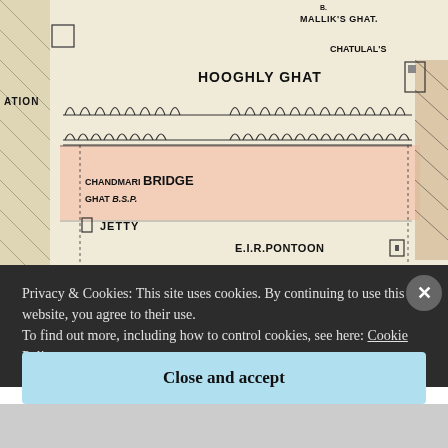[Figure (map): Historical map section showing Hooghly/Calcutta ghats area including Mallik's Ghat, Chatulal's Ghat, Hooghly Ghat, Chandmari Bridge Ghat B.S.P., Jetty, E.I.R. Pontoon, Armenian Ghat, Calcutta S.N. Co's Landing Stage, with buildings and river features depicted in black and white with pink/salmon highlighted area]
Privacy & Cookies: This site uses cookies. By continuing to use this website, you agree to their use.
To find out more, including how to control cookies, see here: Cookie Policy
Close and accept